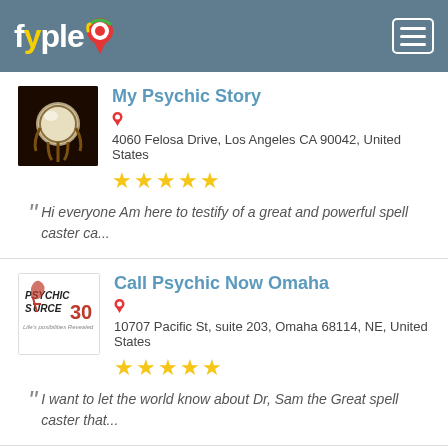fyple
My Psychic Story
4060 Felosa Drive, Los Angeles CA 90042, United States
★★★★★
Hi everyone Am here to testify of a great and powerful spell caster ca...
Call Psychic Now Omaha
10707 Pacific St, suite 203, Omaha 68114, NE, United States
★★★★★
I want to let the world know about Dr, Sam the Great spell caster that...
Psychic Advisor